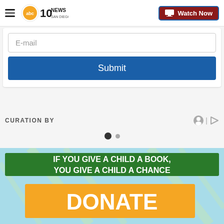[Figure (logo): ABC 10News San Diego navigation bar with hamburger menu, logo, and Watch Now button]
[Figure (screenshot): Email input field and Submit button inside a form card]
CURATION BY
[Figure (other): Carousel navigation dots: one filled dark dot and one smaller grey dot]
[Figure (infographic): Advertisement banner: light blue background with gold decorative lines. Green banner text: IF YOU GIVE A CHILD A BOOK, YOU GIVE A CHILD A CHANCE. Orange banner with white text: DONATE]